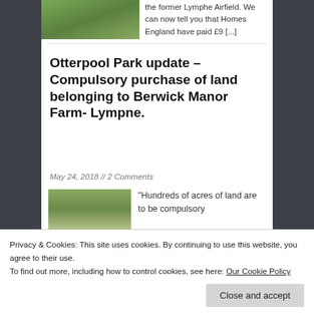the former Lymphe Airfield. We can now tell you that Homes England have paid £9 [...]
Otterpool Park update – Compulsory purchase of land belonging to Berwick Manor Farm- Lympne.
May 24, 2018 // 2 Comments
[Figure (photo): Aerial photograph of green countryside fields]
“Hundreds of acres of land are to be compulsory
Privacy & Cookies: This site uses cookies. By continuing to use this website, you agree to their use.
To find out more, including how to control cookies, see here: Our Cookie Policy